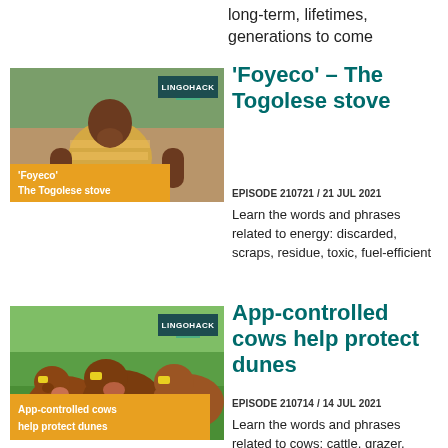long-term, lifetimes, generations to come
[Figure (photo): Lingohack thumbnail: man working with wooden items, yellow striped shirt, green foliage background. Orange label reads 'Foyeco The Togolese stove'. Lingohack badge top right.]
'Foyeco' – The Togolese stove
EPISODE 210721 / 21 JUL 2021
Learn the words and phrases related to energy: discarded, scraps, residue, toxic, fuel-efficient
[Figure (photo): Lingohack thumbnail: brown cows with yellow ear tags in a green field. Orange label reads 'App-controlled cows help protect dunes'. Lingohack badge top right.]
App-controlled cows help protect dunes
EPISODE 210714 / 14 JUL 2021
Learn the words and phrases related to cows: cattle, grazer, pasture,